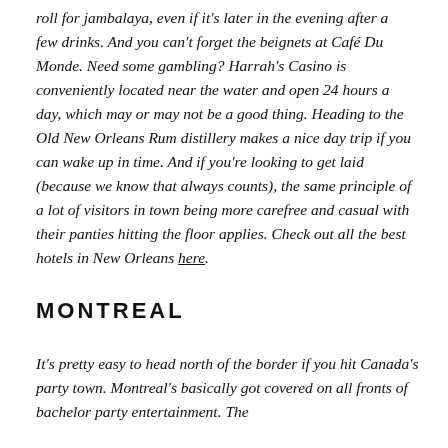roll for jambalaya, even if it's later in the evening after a few drinks. And you can't forget the beignets at Café Du Monde. Need some gambling? Harrah's Casino is conveniently located near the water and open 24 hours a day, which may or may not be a good thing. Heading to the Old New Orleans Rum distillery makes a nice day trip if you can wake up in time. And if you're looking to get laid (because we know that always counts), the same principle of a lot of visitors in town being more carefree and casual with their panties hitting the floor applies. Check out all the best hotels in New Orleans here.
MONTREAL
It's pretty easy to head north of the border if you hit Canada's party town. Montreal's basically got covered on all fronts of bachelor party entertainment. The